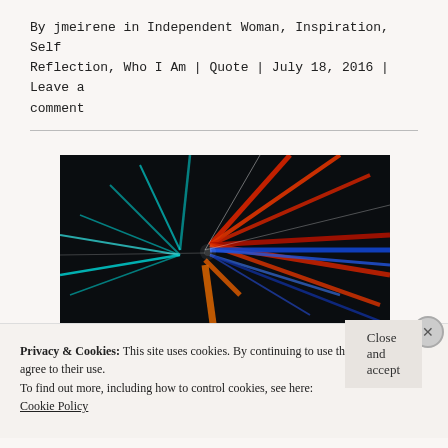By jmeirene in Independent Woman, Inspiration, Self Reflection, Who I Am | Quote | July 18, 2016 | Leave a comment
[Figure (photo): Abstract light streaks radiating from center on dark background — red, blue, teal colored light trails forming a star-burst pattern]
Privacy & Cookies: This site uses cookies. By continuing to use this website, you agree to their use.
To find out more, including how to control cookies, see here:
Cookie Policy
Close and accept